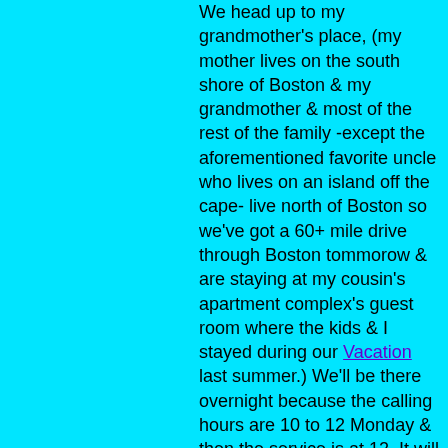We head up to my grandmother's place, (my mother lives on the south shore of Boston & my grandmother & most of the rest of the family -except the aforementioned favorite uncle who lives on an island off the cape- live north of Boston so we've got a 60+ mile drive through Boston tommorow & are staying at my cousin's apartment complex's guest room where the kids & I stayed during our Vacation last summer.) We'll be there overnight because the calling hours are 10 to 12 Monday & then the service is at 12. It will be a long day & I'm still torn about wether to let 7 & 10 come to the service & funeral at all. (I have cousins with younger kids & certainly should be able to have my younger kids stay with whoever is watching their kids) I was 8 when my grandfather died & I went to the calling hours but not the funeral, the first 'real' (family at least) funeral I ever attended was my Brother's in 1989 & I was 20 already.

Between the actual funeral, calling hours etc & the cleaning out the apartment we